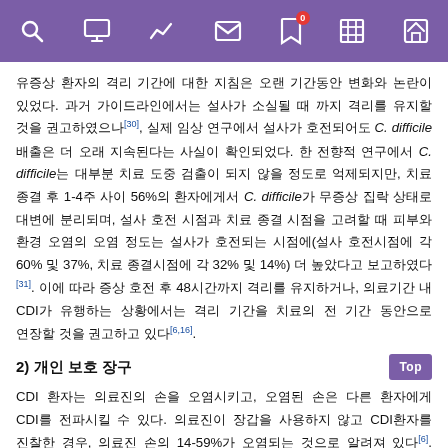[navigation bar with icons: search, monitor, chart, mail, bookmark(0), grid, home]
유증상 환자의 격리 기간에 대한 지침은 오랜 기간동안 변화와 논란이 있었다. 과거 가이드라인에서는 설사가 소실될 때 까지 격리를 유지할 것을 권고하였으나[30], 실제 임상 연구에서 설사가 호전되어도 C. difficile 배출은 더 오래 지속된다는 사실이 확인되었다. 한 전향적 연구에서 C. difficile는 대부분 치료 도중 검출이 되지 않을 정도로 억제되지만, 치료 종결 후 1-4주 사이 56%의 환자에게서 C. difficile가 무증상 집락 상태로 대변에 분리되며, 설사 호전 시점과 치료 종결 시점을 고려할 때 피부와 환경 오염의 오염 정도는 설사가 호전되는 시점에(설사 호전시점에 각 60% 및 37%, 치료 종결시점에 각 32% 및 14%) 더 높았다고 보고하였다[31]. 이에 따라 증상 호전 후 48시간까지 격리를 유지하거나, 의료기간 내 CDI가 유행하는 상황에서는 격리 기간을 치료의 전 기간 동안으로 연장할 것을 권고하고 있다[6,16].
2) 개인 보호 장구
CDI 환자는 의료진의 손을 오염시키고, 오염된 손은 다른 환자에게 CDI를 전파시킬 수 있다. 의료진이 장갑을 사용하지 않고 CDI환자를 진찰한 경우, 의료진 손의 14-59%가 오염되는 것으로 알려져 있다[6]. 이에, 의료종사자는 CDI 환자의 진료를 위한 병실에 진입할 때 일회용 가운과 장